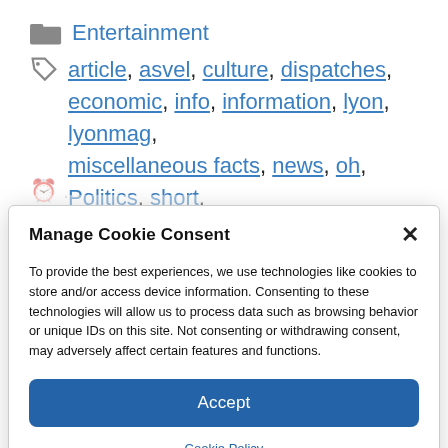Entertainment
article, asvel, culture, dispatches, economic, info, information, lyon, lyonmag, miscellaneous facts, news, oh, Politics, short, social, sport, transport
Manage Cookie Consent
To provide the best experiences, we use technologies like cookies to store and/or access device information. Consenting to these technologies will allow us to process data such as browsing behavior or unique IDs on this site. Not consenting or withdrawing consent, may adversely affect certain features and functions.
Accept
Cookie Policy